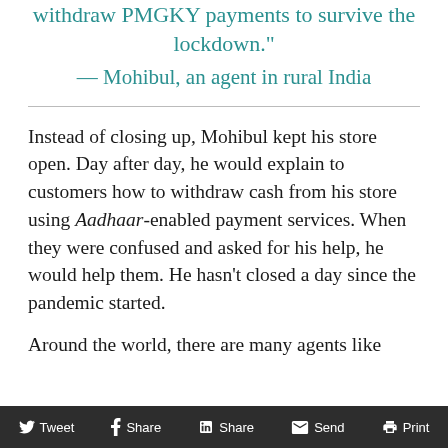women, and all of them needed to withdraw PMGKY payments to survive the lockdown."
— Mohibul, an agent in rural India
Instead of closing up, Mohibul kept his store open. Day after day, he would explain to customers how to withdraw cash from his store using Aadhaar-enabled payment services. When they were confused and asked for his help, he would help them. He hasn't closed a day since the pandemic started.
Around the world, there are many agents like
Tweet  Share  Share  Send  Print